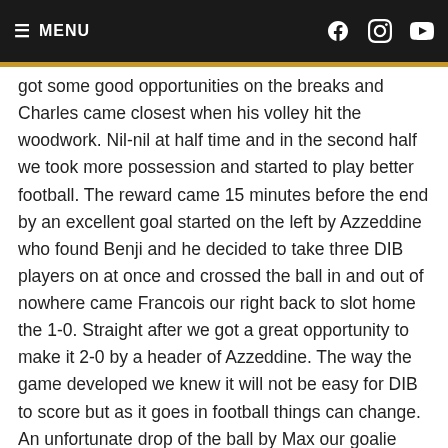≡ MENU
got some good opportunities on the breaks and Charles came closest when his volley hit the woodwork. Nil-nil at half time and in the second half we took more possession and started to play better football. The reward came 15 minutes before the end by an excellent goal started on the left by Azzeddine who found Benji and he decided to take three DIB players on at once and crossed the ball in and out of nowhere came Francois our right back to slot home the 1-0. Straight after we got a great opportunity to make it 2-0 by a header of Azzeddine. The way the game developed we knew it will not be easy for DIB to score but as it goes in football things can change. An unfortunate drop of the ball by Max our goalie landed straight in the feet of Didier who score from close range, 1-1. Moments later a deflected cross fell again straight in the feet of the DIB striker and the game was upside down. This time there was no turn around in the game. Losing is part of the game and it will make us stronger. It was good to see